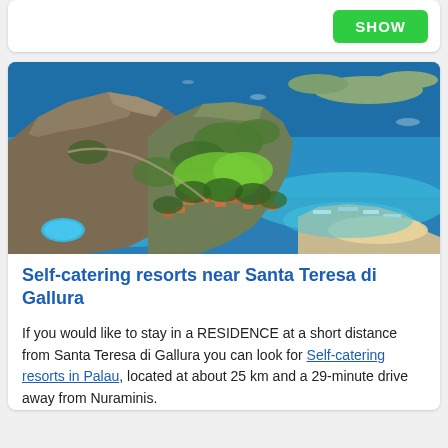[Figure (other): Green SHOW button on a white card]
[Figure (photo): Aerial photograph of a coastal resort area near Santa Teresa di Gallura, Sardinia, showing rocky hills covered with Mediterranean vegetation, terracotta-roofed buildings nestled among trees, a marina with boats, sandy beach, and vivid blue sea with islands in the background]
Self-catering resorts near Santa Teresa di Gallura
If you would like to stay in a RESIDENCE at a short distance from Santa Teresa di Gallura you can look for Self-catering resorts in Palau, located at about 25 km and a 29-minute drive away from Nuraminis.